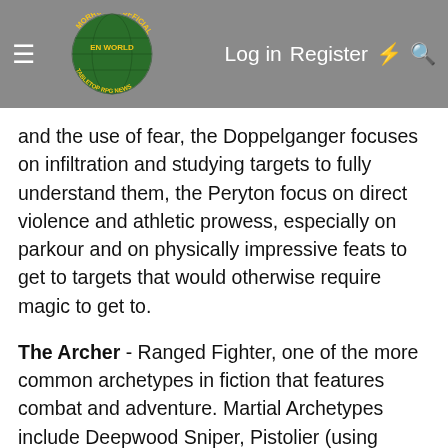Morrus' Unofficial Tabletop RPG News — Log in | Register
and the use of fear, the Doppelganger focuses on infiltration and studying targets to fully understand them, the Peryton focus on direct violence and athletic prowess, especially on parkour and on physically impressive feats to get to targets that would otherwise require magic to get to.
The Archer - Ranged Fighter, one of the more common archetypes in fiction that features combat and adventure. Martial Archetypes include Deepwood Sniper, Pistolier (using firearms or crossbows. Most of it works just fine as a knife-thrower, as well, and there is definite overlap in the archetypes here), Dragoon (highly mobile, mount-bonded, can confer their mobility and defense features to their mount, probably capable of leaping from a mount or off of something without injury or falling prone, to attack someone up close), others. Uses Focus to fuel trick shots, and to simply add damage, activate a hyperfocused state similar to